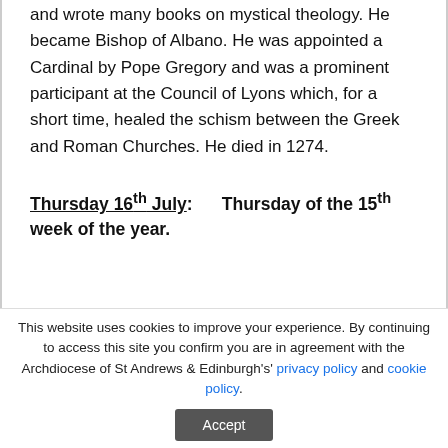and wrote many books on mystical theology. He became Bishop of Albano. He was appointed a Cardinal by Pope Gregory and was a prominent participant at the Council of Lyons which, for a short time, healed the schism between the Greek and Roman Churches. He died in 1274.
Thursday 16th July: Thursday of the 15th week of the year.
This website uses cookies to improve your experience. By continuing to access this site you confirm you are in agreement with the Archdiocese of St Andrews & Edinburgh's' privacy policy and cookie policy.